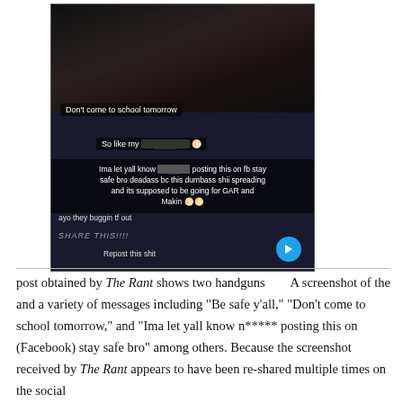[Figure (screenshot): A screenshot of a social media post showing two handguns and messages including 'Don't come to school tomorrow', 'So like my [redacted]', and 'Ima let yall know [redacted] posting this on fb stay safe bro deadass bc this dumbass shii spreading and its supposed to be going for GAR and Makin', 'ayo they buggin tf out', 'SHARE THIS!!!! Repost this shit' with a share button.]
A screenshot of the post obtained by The Rant shows two handguns and a variety of messages including “Be safe y’all,” “Don’t come to school tomorrow,” and “Ima let yall know n***** posting this on (Facebook) stay safe bro” among others. Because the screenshot received by The Rant appears to have been re-shared multiple times on the social